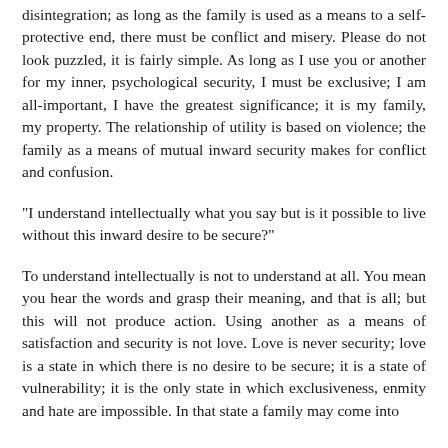disintegration; as long as the family is used as a means to a self-protective end, there must be conflict and misery. Please do not look puzzled, it is fairly simple. As long as I use you or another for my inner, psychological security, I must be exclusive; I am all-important, I have the greatest significance; it is my family, my property. The relationship of utility is based on violence; the family as a means of mutual inward security makes for conflict and confusion.
"I understand intellectually what you say but is it possible to live without this inward desire to be secure?"
To understand intellectually is not to understand at all. You mean you hear the words and grasp their meaning, and that is all; but this will not produce action. Using another as a means of satisfaction and security is not love. Love is never security; love is a state in which there is no desire to be secure; it is a state of vulnerability; it is the only state in which exclusiveness, enmity and hate are impossible. In that state a family may come into